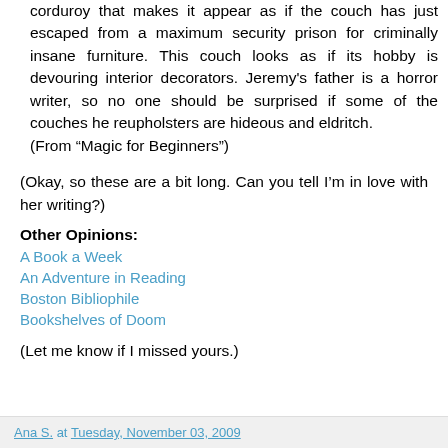corduroy that makes it appear as if the couch has just escaped from a maximum security prison for criminally insane furniture. This couch looks as if its hobby is devouring interior decorators. Jeremy's father is a horror writer, so no one should be surprised if some of the couches he reupholsters are hideous and eldritch.
(From “Magic for Beginners”)
(Okay, so these are a bit long. Can you tell I’m in love with her writing?)
Other Opinions:
A Book a Week
An Adventure in Reading
Boston Bibliophile
Bookshelves of Doom
(Let me know if I missed yours.)
Ana S. at Tuesday, November 03, 2009